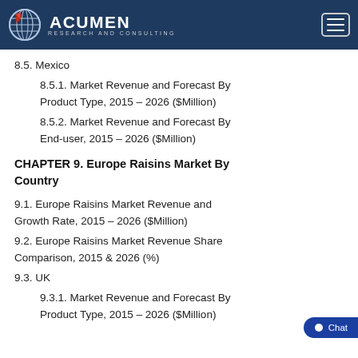Acumen Research and Consulting
8.5. Mexico
8.5.1. Market Revenue and Forecast By Product Type, 2015 - 2026 ($Million)
8.5.2. Market Revenue and Forecast By End-user, 2015 - 2026 ($Million)
CHAPTER 9. Europe Raisins Market By Country
9.1. Europe Raisins Market Revenue and Growth Rate, 2015 - 2026 ($Million)
9.2. Europe Raisins Market Revenue Share Comparison, 2015 & 2026 (%)
9.3. UK
9.3.1. Market Revenue and Forecast By Product Type, 2015 - 2026 ($Million)